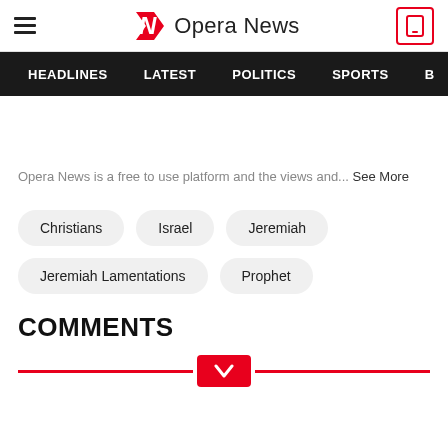Opera News
HEADLINES  LATEST  POLITICS  SPORTS
Opera News is a free to use platform and the views and... See More
Christians
Israel
Jeremiah
Jeremiah Lamentations
Prophet
COMMENTS